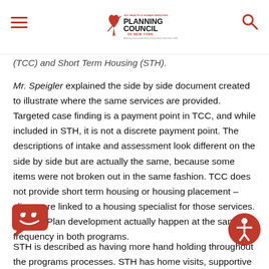HIV Health & Human Services Planning Council of New York
(TCC) and Short Term Housing (STH).
Mr. Speigler explained the side by side document created to illustrate where the same services are provided. Targeted case finding is a payment point in TCC, and while included in STH, it is not a discrete payment point. The descriptions of intake and assessment look different on the side by side but are actually the same, because some items were not broken out in the same fashion. TCC does not provide short term housing or housing placement – clients are linked to a housing specialist for those services. Service Plan development actually happen at the same frequency in both programs.
STH is described as having more hand holding throughout the programs processes. STH has home visits, supportive